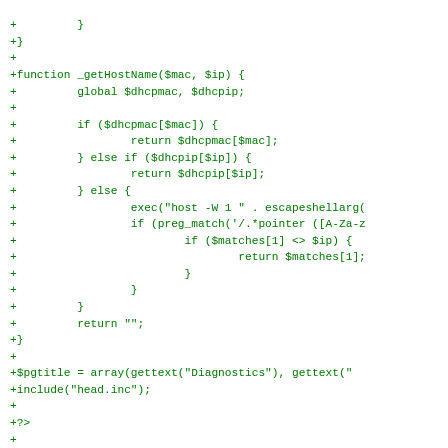[Figure (other): Source code diff snippet in PHP showing a _getHostName function and surrounding code, displayed in green monospace font on white background]